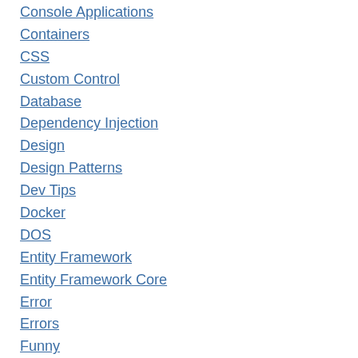Console Applications
Containers
CSS
Custom Control
Database
Dependency Injection
Design
Design Patterns
Dev Tips
Docker
DOS
Entity Framework
Entity Framework Core
Error
Errors
Funny
Game Development
Gatsby
Git